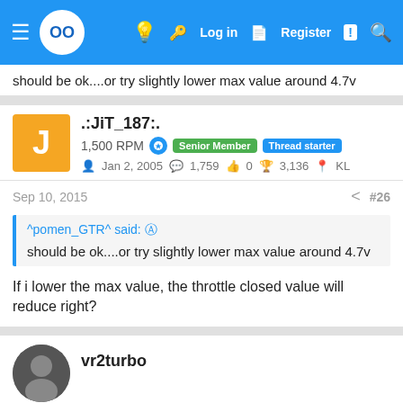Navigation bar with logo and icons: Log in, Register, Search
should be ok....or try slightly lower max value around 4.7v
.:JiT_187:. 1,500 RPM Senior Member Thread starter Jan 2, 2005 1,759 0 3,136 KL
Sep 10, 2015 #26
^pomen_GTR^ said: should be ok....or try slightly lower max value around 4.7v
If i lower the max value, the throttle closed value will reduce right?
vr2turbo